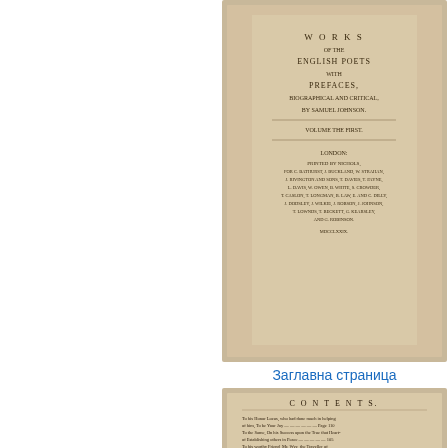[Figure (photo): Scanned image of title page of 'Works of the English Poets with Prefaces Biographical and Critical by Samuel Johnson']
Заглавна страница
[Figure (photo): Scanned image of Contents page of the book, showing table of contents entries]
Съдържание
[Figure (photo): Scanned image of another Contents page of the book, showing additional table of contents entries]